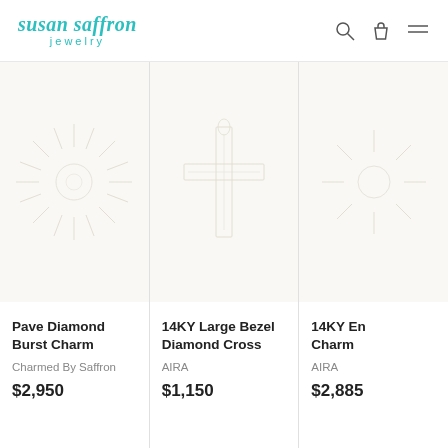[Figure (logo): Susan Saffron Jewelry logo in teal/turquoise color]
[Figure (photo): Pave Diamond Burst Charm product image with starburst watermark on cream background]
Pave Diamond Burst Charm
Charmed By Saffron
$2,950
[Figure (photo): 14KY Large Bezel Diamond Cross product image with cross watermark on cream background]
14KY Large Bezel Diamond Cross
AIRA
$1,150
[Figure (photo): 14KY En... Charm product image on cream background (partially visible)]
14KY En... Charm
AIRA
$2,885